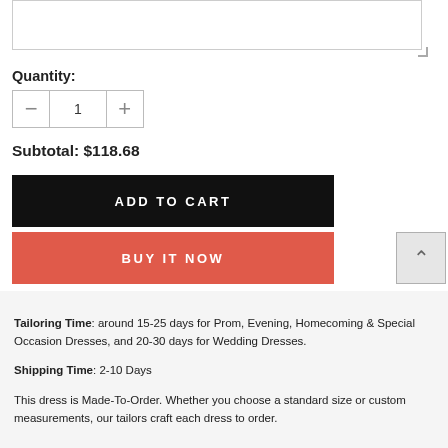Quantity:
1
Subtotal: $118.68
ADD TO CART
BUY IT NOW
Tailoring Time: around 15-25 days for Prom, Evening, Homecoming & Special Occasion Dresses, and 20-30 days for Wedding Dresses. Shipping Time: 2-10 Days This dress is Made-To-Order. Whether you choose a standard size or custom measurements, our tailors craft each dress to order.